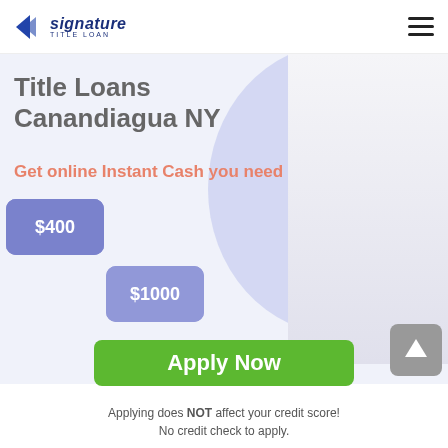signature TITLE LOAN
Title Loans Canandiagua NY
Get online Instant Cash you need
$100
$200
$300
$400
$500
$1000
OR
Apply Now
Applying does NOT affect your credit score!
No credit check to apply.